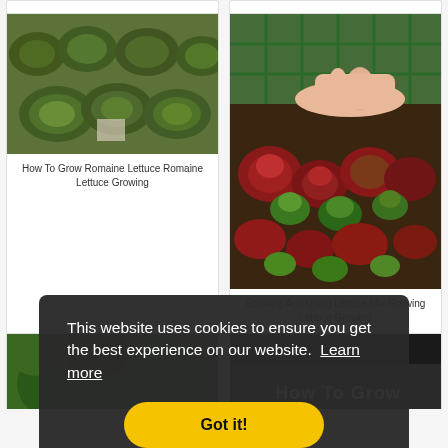[Figure (photo): Top partial strip showing two cards partially visible at top of page]
[Figure (photo): Photo of romaine lettuce plants growing in garden soil, viewed from above]
How To Grow Romaine Lettuce Romaine Lettuce Growing
[Figure (photo): Hands planting small red and green lettuce seedlings in a raised garden bed with grid overlay]
Growing And Using Lettuce Mix Growing Lettuce Growing
[Figure (photo): Bottom row partial cards showing green plants and 'How To Grow' text]
This website uses cookies to ensure you get the best experience on our website.  Learn more
Got it!